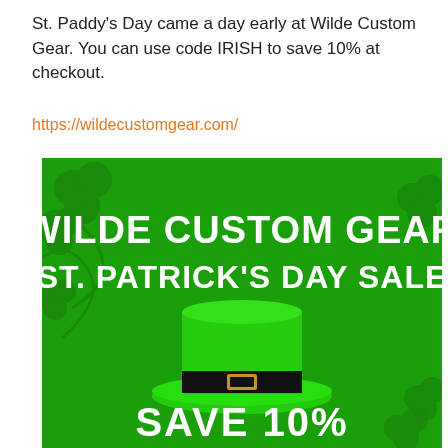St. Paddy's Day came a day early at Wilde Custom Gear. You can use code IRISH to save 10% at checkout.
https://wildecustomgear.com/
[Figure (illustration): St. Patrick's Day sale advertisement for Wilde Custom Gear showing a green leprechaun hat with black band and gold buckle on a green background with shamrocks. Text reads 'WILDE CUSTOM GEAR ST. PATRICK'S DAY SALE' and 'SAVE 10%' at the bottom.]